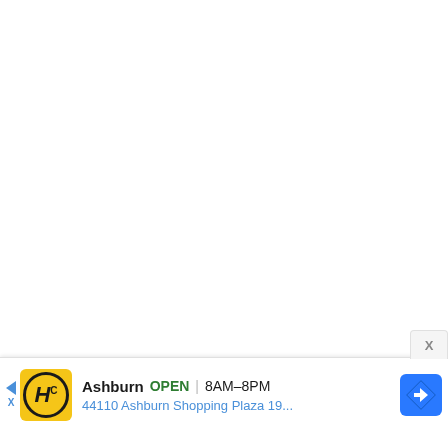[Figure (other): Large white blank area occupying most of the page]
X
Ashburn OPEN 8AM–8PM 44110 Ashburn Shopping Plaza 19...